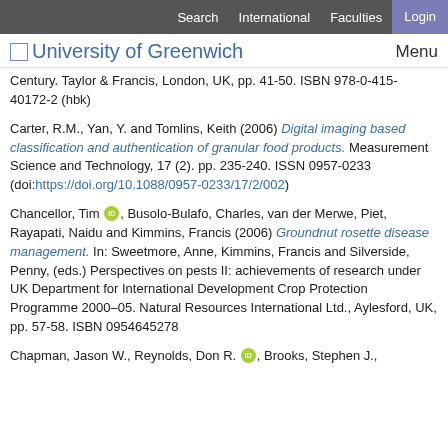Search  International  Faculties  Login
University of Greenwich  Menu
Century. Taylor & Francis, London, UK, pp. 41-50. ISBN 978-0-415-40172-2 (hbk)
Carter, R.M., Yan, Y. and Tomlins, Keith (2006) Digital imaging based classification and authentication of granular food products. Measurement Science and Technology, 17 (2). pp. 235-240. ISSN 0957-0233 (doi:https://doi.org/10.1088/0957-0233/17/2/002)
Chancellor, Tim [orcid], Busolo-Bulafo, Charles, van der Merwe, Piet, Rayapati, Naidu and Kimmins, Francis (2006) Groundnut rosette disease management. In: Sweetmore, Anne, Kimmins, Francis and Silverside, Penny, (eds.) Perspectives on pests II: achievements of research under UK Department for International Development Crop Protection Programme 2000-05. Natural Resources International Ltd., Aylesford, UK, pp. 57-58. ISBN 0954645278
Chapman, Jason W., Reynolds, Don R. [orcid], Brooks, Stephen J.,